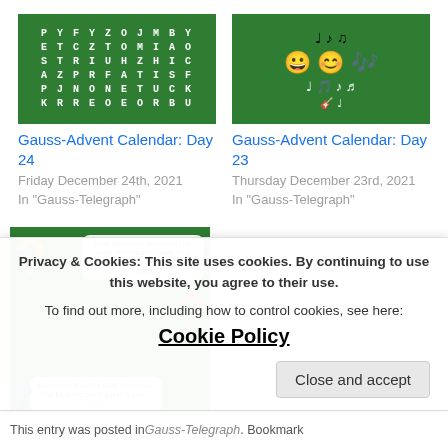[Figure (illustration): Green background word search puzzle grid with white letters]
Gauss-Advent Calendar: Day 24
Friday December 24th, 2021
In "Gauss-Telegraph"
[Figure (illustration): Green background with music emojis and musical notes]
Gauss-Advent Calendar: Day 23
Thursday December 23rd, 2021
In "Gauss-Telegraph"
[Figure (illustration): Green background with colorful question marks and speech bubbles in German and English about white Christmas / Elvis Presley]
Gauss-Advent Calendar: Day 22
Privacy & Cookies: This site uses cookies. By continuing to use this website, you agree to their use.
To find out more, including how to control cookies, see here: Cookie Policy
Close and accept
This entry was posted in Gauss-Telegraph. Bookmark